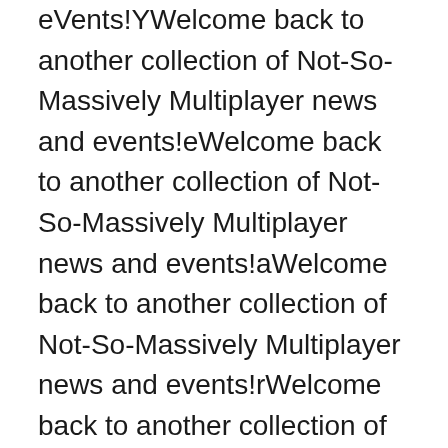eVents!YWelcome back to another collection of Not-So-Massively Multiplayer news and events!eWelcome back to another collection of Not-So-Massively Multiplayer news and events!aWelcome back to another collection of Not-So-Massively Multiplayer news and events!rWelcome back to another collection of Not-So-Massively Multiplayer news and events! Welcome back to another collection of Not-So-Massively Multiplayer news and events!bWelcome back to another collection of Not-So-Massively Multiplayer news and events!eWelcome back to another collection of Not-So-Massively Multiplayer news and events!gWelcome back to another collection of Not-So-Massively Multiplayer news